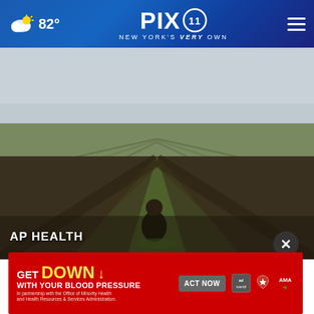PIX11 New York's Very Own — 82°
[Figure (photo): A person standing in rows of a vineyard with barren grapevines under an overcast grey sky. The vines stretch into the distance in converging rows. The scene is outdoors in a rural wine-growing region.]
AP HEALTH
Rep pes
[Figure (other): Advertisement banner: GET DOWN WITH YOUR BLOOD PRESSURE — In partnership with the Office of Minority Health and Health Resources & Services Administration. ACT NOW button. Logos: ad council, American Heart Association, AMA.]